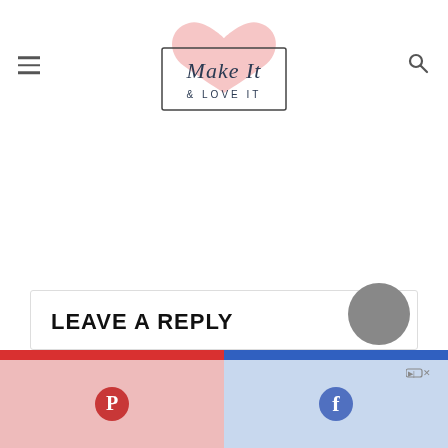Make It & Love It
LEAVE A REPLY
Comment *
[Figure (logo): Make It & Love It blog logo with heart graphic]
[Figure (infographic): Social sharing bar with Pinterest (pink/red) and Facebook (blue) icons at bottom of page]